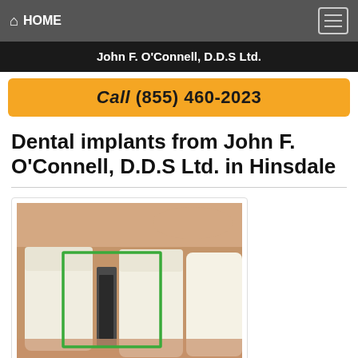HOME
John F. O'Connell, D.D.S Ltd.
Call (855) 460-2023
Dental implants from John F. O'Connell, D.D.S Ltd. in Hinsdale
[Figure (photo): Close-up photo of teeth showing a dental implant area, with a green rectangle highlighting the implant zone between two teeth.]
Want a more natural-looking and more comfortable cosmetic dentistry solution to missing teeth than removable dentures? Dr.